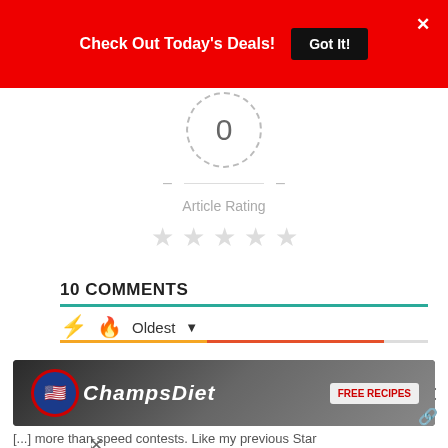Check Out Today's Deals! Got It!
[Figure (infographic): Article rating widget showing 0 rating in dashed circle, dashes on sides, 'Article Rating' label, and 5 empty grey stars]
10 COMMENTS
Oldest ▼
[Figure (infographic): App icon: green rounded square with white angle-bracket and dot logo for Kodi or similar app]
SWGoH: A Look at Speed, Turn Meter Gain & Turn Order Manipulation
[Figure (photo): ChampsDiet advertisement banner with food background, American flag heart logo, ChampsDiet text, and FREE RECIPES button]
[...] more than speed contests. Like my previous Star